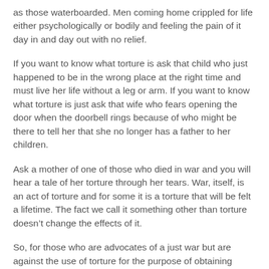as those waterboarded. Men coming home crippled for life either psychologically or bodily and feeling the pain of it day in and day out with no relief.
If you want to know what torture is ask that child who just happened to be in the wrong place at the right time and must live her life without a leg or arm. If you want to know what torture is just ask that wife who fears opening the door when the doorbell rings because of who might be there to tell her that she no longer has a father to her children.
Ask a mother of one of those who died in war and you will hear a tale of her torture through her tears. War, itself, is an act of torture and for some it is a torture that will be felt a lifetime. The fact we call it something other than torture doesn't change the effects of it.
So, for those who are advocates of a just war but are against the use of torture for the purpose of obtaining information, I say, think again about your priorities in life. You will find no ally in me. The lives of my fellow countryman is too important to me, even those I do not know personally. I might even add